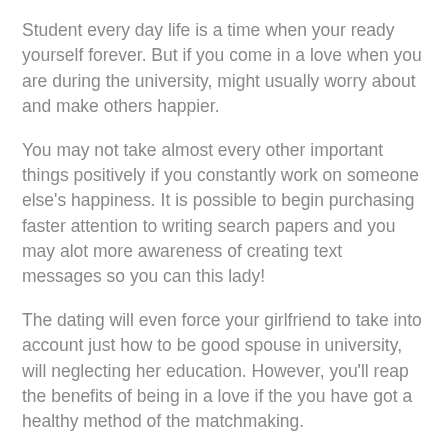Student every day life is a time when your ready yourself forever. But if you come in a love when you are during the university, might usually worry about and make others happier.
You may not take almost every other important things positively if you constantly work on someone else's happiness. It is possible to begin purchasing faster attention to writing search papers and you may alot more awareness of creating text messages so you can this lady!
The dating will even force your girlfriend to take into account just how to be good spouse in university, will neglecting her education. However, you'll reap the benefits of being in a love if the you have got a healthy method of the matchmaking.
step three. You miss out the fun section of hanging out